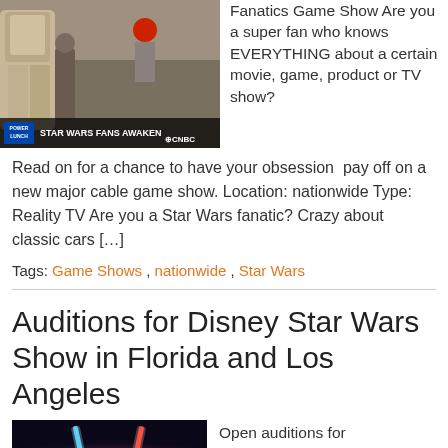[Figure (photo): CNBC Power Lunch segment showing Star Wars fans at a convention with title 'STAR WARS FANS AWAKEN']
Fanatics Game Show Are you a super fan who knows EVERYTHING about a certain movie, game, product or TV show?
Read on for a chance to have your obsession pay off on a new major cable game show. Location: nationwide Type: Reality TV Are you a Star Wars fanatic? Crazy about classic cars […]
Tags: Game Shows , nationwide , Star Wars
Auditions for Disney Star Wars Show in Florida and Los Angeles
[Figure (photo): Two lightsabers crossing with blue and red glow against dark background]
Open auditions for STAR WARS